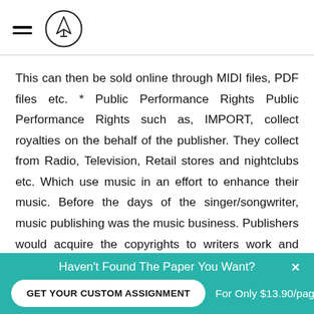[hamburger menu icon] [pencil logo]
This can then be sold online through MIDI files, PDF files etc. * Public Performance Rights Public Performance Rights such as, IMPORT, collect royalties on the behalf of the publisher. They collect from Radio, Television, Retail stores and nightclubs etc. Which use music in an effort to enhance their music. Before the days of the singer/songwriter, music publishing was the music business. Publishers would acquire the copyrights to writers work and would then try to get the Nor exploited.
Haven't Found The Paper You Want?
GET YOUR CUSTOM ASSIGNMENT
For Only $13.90/page